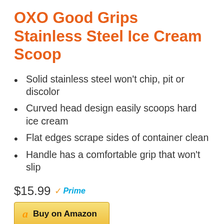OXO Good Grips Stainless Steel Ice Cream Scoop
Solid stainless steel won't chip, pit or discolor
Curved head design easily scoops hard ice cream
Flat edges scrape sides of container clean
Handle has a comfortable grip that won't slip
$15.99 ✓Prime
a Buy on Amazon